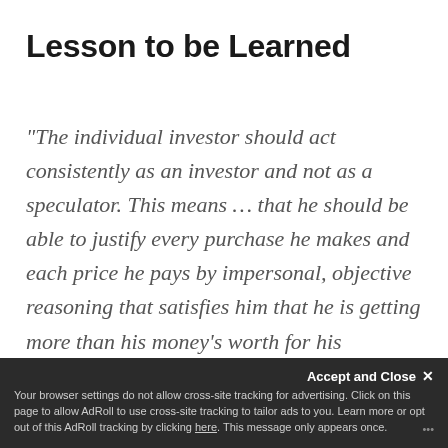Lesson to be Learned
"The individual investor should act consistently as an investor and not as a speculator. This means … that he should be able to justify every purchase he makes and each price he pays by impersonal, objective reasoning that satisfies him that he is getting more than his money's worth for his purchase."
Accept and Close ✕ Your browser settings do not allow cross-site tracking for advertising. Click on this page to allow AdRoll to use cross-site tracking to tailor ads to you. Learn more or opt out of this AdRoll tracking by clicking here. This message only appears once.